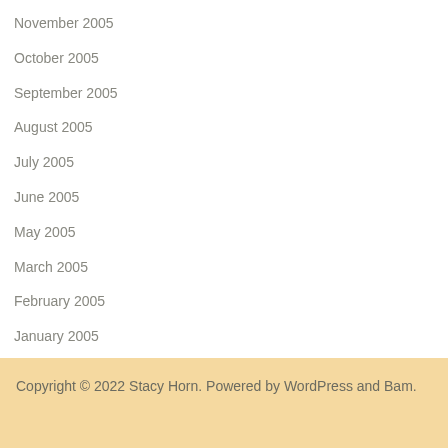November 2005
October 2005
September 2005
August 2005
July 2005
June 2005
May 2005
March 2005
February 2005
January 2005
Copyright © 2022 Stacy Horn. Powered by WordPress and Bam.